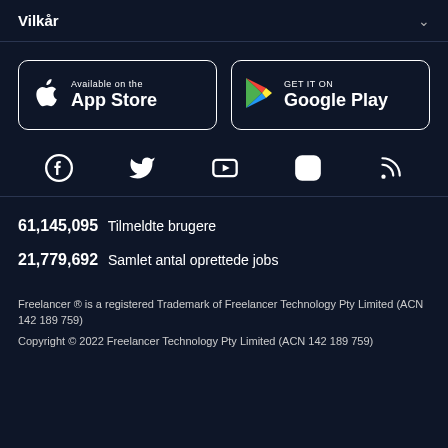Vilkår
[Figure (logo): App Store and Google Play download buttons]
[Figure (infographic): Social media icons: Facebook, Twitter, YouTube, Instagram, RSS]
61,145,095  Tilmeldte brugere
21,779,692  Samlet antal oprettede jobs
Freelancer ® is a registered Trademark of Freelancer Technology Pty Limited (ACN 142 189 759)
Copyright © 2022 Freelancer Technology Pty Limited (ACN 142 189 759)